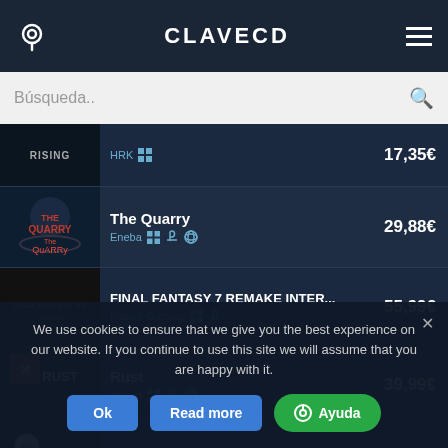CLAVECD
Búsqueda..
| Thumbnail | Game | Store | Price |
| --- | --- | --- | --- |
| RISING image |  | HRK | 17,35€ |
| The Quarry image | The Quarry | Eneba | 29,88€ |
| Final Fantasy 7 image | FINAL FANTASY 7 REMAKE INTER... | Instant Gaming | 55,99€ |
| Rust image | Rust | Steam | 39,99€ |
| FIFA 22 image | FIFA 22 | Kinguin | 10,79€ |
| Xbox image | Xbox Game Pass Ultimate |  |  |
We use cookies to ensure that we give you the best experience on our website. If you continue to use this site we will assume that you are happy with it.
Ok
Read more
Ayuda